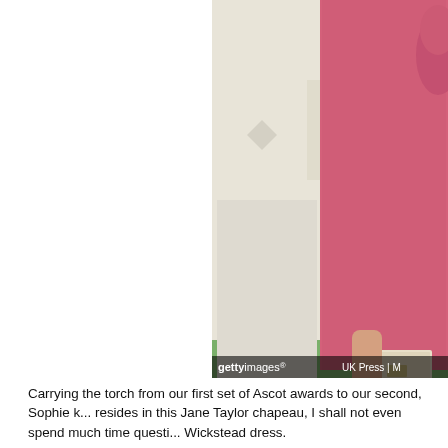[Figure (photo): Two women standing outdoors. One in a cream/white outfit on the left, one in a pink textured dress holding a cream clutch bag on the right. Getty Images watermark visible at the bottom.]
Carrying the torch from our first set of Ascot awards to our second, Sophie k... resides in this Jane Taylor chapeau, I shall not even spend much time questi... Wickstead dress.
[Figure (photo): Person wearing a dark green high-neck dress or top, cropped view showing neck and upper body.]
[Figure (photo): Second partial photo showing another person in green attire, partially cropped at right edge.]